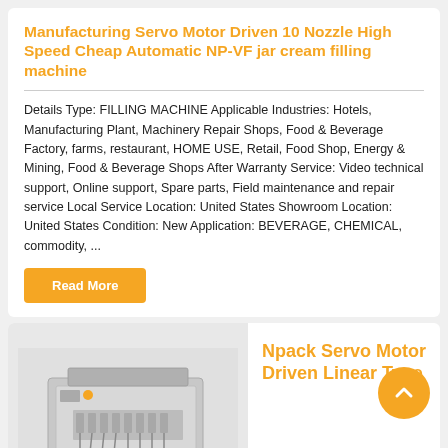Manufacturing Servo Motor Driven 10 Nozzle High Speed Cheap Automatic NP-VF jar cream filling machine
Details Type: FILLING MACHINE Applicable Industries: Hotels, Manufacturing Plant, Machinery Repair Shops, Food & Beverage Factory, farms, restaurant, HOME USE, Retail, Food Shop, Energy & Mining, Food & Beverage Shops After Warranty Service: Video technical support, Online support, Spare parts, Field maintenance and repair service Local Service Location: United States Showroom Location: United States Condition: New Application: BEVERAGE, CHEMICAL, commodity, ...
Read More
Npack Servo Motor Driven Linear Type
[Figure (photo): Photo of a filling machine, industrial packaging equipment, gray metallic machine with tubes and nozzles]